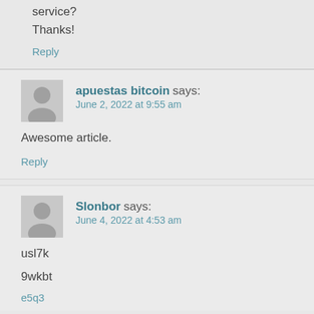service?
Thanks!
Reply
apuestas bitcoin says:
June 2, 2022 at 9:55 am
Awesome article.
Reply
Slonbor says:
June 4, 2022 at 4:53 am
usl7k
9wkbt
e5q3